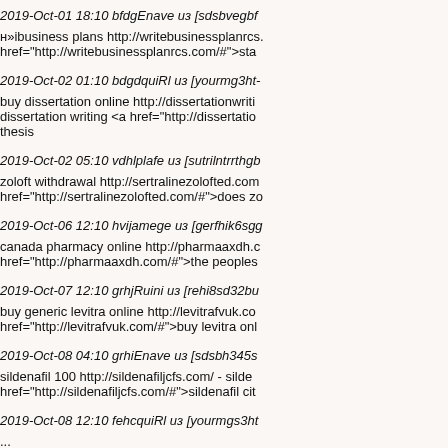2019-Oct-01 18:10 bfdgEnave из [sdsbvegbf
н»іbusiness plans http://writebusinessplanrcs. href="http://writebusinessplanrcs.com/#">sta
2019-Oct-02 01:10 bdgdquiRl из [yourmg3ht-
buy dissertation online http://dissertationwriti dissertation writing <a href="http://dissertatio thesis
2019-Oct-02 05:10 vdhlplafe из [sutrilntrrthgb
zoloft withdrawal http://sertralinezolofted.com href="http://sertralinezolofted.com/#">does zo
2019-Oct-06 12:10 hvijamege из [gerfhik6sgg
canada pharmacy online http://pharmaaxdh.c href="http://pharmaaxdh.com/#">the peoples
2019-Oct-07 12:10 grhjRuini из [rehi8sd32bu
buy generic levitra online http://levitrafvuk.co href="http://levitrafvuk.com/#">buy levitra onl
2019-Oct-08 04:10 grhiEnave из [sdsbh345s
sildenafil 100 http://sildenafiljcfs.com/ - silde href="http://sildenafiljcfs.com/#">sildenafil cit
2019-Oct-08 12:10 fehcquiRl из [yourmgs3ht
...